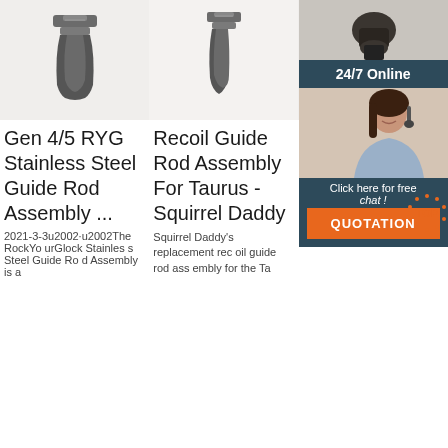[Figure (photo): Metal guide rod part photo 1 on white background]
[Figure (photo): Metal guide rod part photo 2 on white background]
[Figure (photo): Dark metal gun part on light background with 24/7 Online chat widget overlay showing agent photo and QUOTATION button]
Gen 4/5 RYG Stainless Steel Guide Rod Assembly ...
Recoil Guide Rod Assembly For Taurus - Squirrel Daddy
Ca Sta Ste Ro Ass Sig
2021-3-3u2002·u2002The RockYourGlock Stainless Steel Guide Rod Assembly is a
Squirrel Daddy's replacement recoil guide rod assembly for the Ta
2021-9-25u2002·u2002Sig SP2022 and SP2340 Stainless Guide Ro